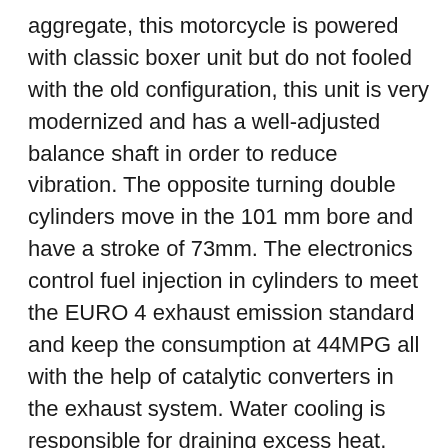aggregate, this motorcycle is powered with classic boxer unit but do not fooled with the old configuration, this unit is very modernized and has a well-adjusted balance shaft in order to reduce vibration. The opposite turning double cylinders move in the 101 mm bore and have a stroke of 73mm. The electronics control fuel injection in cylinders to meet the EURO 4 exhaust emission standard and keep the consumption at 44MPG all with the help of catalytic converters in the exhaust system. Water cooling is responsible for draining excess heat, which is, of course, the occurrence of petrol combustion, and an oil cooler is added to keep the liquid of life for the aggregate at an optimum lubrication temperature. The power coming out of this machine is 110HP at 7750 RPM with 86 lb-ft. The maximum speed is 125MPH, if you have the courage to do it ..
The basic package in Light White with blue black and red